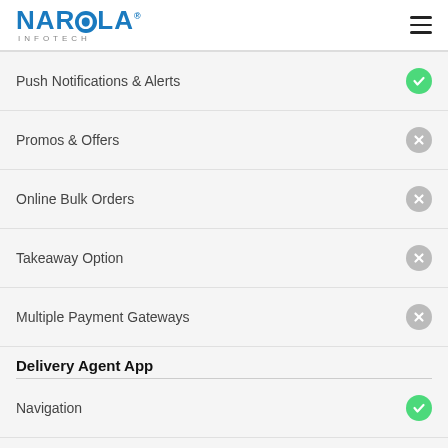NAROLA INFOTECH
Push Notifications & Alerts
Promos & Offers
Online Bulk Orders
Takeaway Option
Multiple Payment Gateways
Delivery Agent App
Navigation
Instant Order Notification
Daily Earnings Reports
View Customer Details